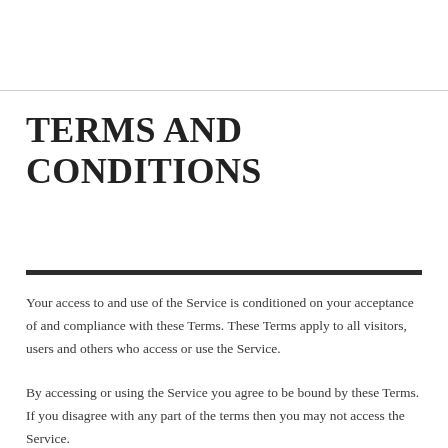TERMS AND CONDITIONS
Your access to and use of the Service is conditioned on your acceptance of and compliance with these Terms. These Terms apply to all visitors, users and others who access or use the Service.
By accessing or using the Service you agree to be bound by these Terms. If you disagree with any part of the terms then you may not access the Service.